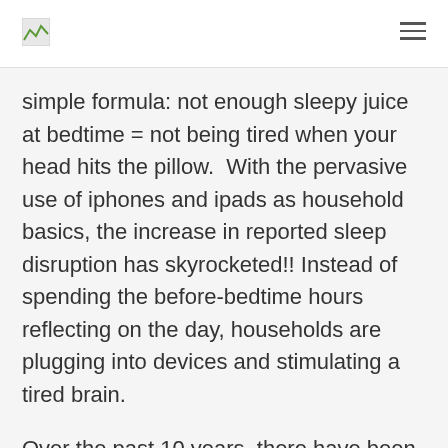simple formula: not enough sleepy juice at bedtime = not being tired when your head hits the pillow.  With the pervasive use of iphones and ipads as household basics, the increase in reported sleep disruption has skyrocketed!! Instead of spending the before-bedtime hours reflecting on the day, households are plugging into devices and stimulating a tired brain.
Over the past 10 years, there have been more sleeping disorders reported than